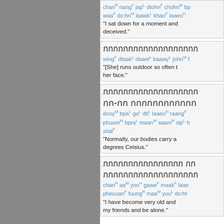[Figure (other): Gray vertical panel on left side of page]
chanR nangF japL dtohnF chohnM bp... waaF do:hnM laawkL khaoF laaeoH ... "I sat down for a moment and... deceived."
Thai script line. wingF dtaakL daaetL baawyL johnM ... "[She] runs outdoor so often ... her face."
Thai script lines. ฒ-ฒ Thai script. dooyM bpaL gaL dtiL laaeoH raangF phuum M bpraL maanM saamR sipL h... siiatF "Normally, our bodies carry a... degrees Celsius."
Thai script lines. chanR aaM yooH gaawF maakF laae... pheuuanF fuungR maaM yuuL do:ht... "I have become very old and... my friends and be alone."